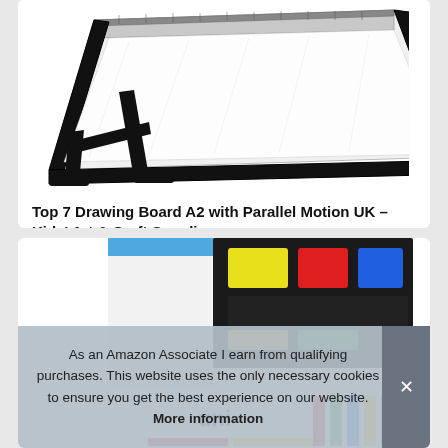[Figure (photo): Photo of an A2 drawing board with parallel motion on a stand, angled view, black frame, white surface with ruler]
Top 7 Drawing Board A2 with Parallel Motion UK – Kids' Art & Craft Supplies
[Figure (photo): Photo of art supplies including colorful marker sets and packaging, partially visible]
As an Amazon Associate I earn from qualifying purchases. This website uses the only necessary cookies to ensure you get the best experience on our website. More information